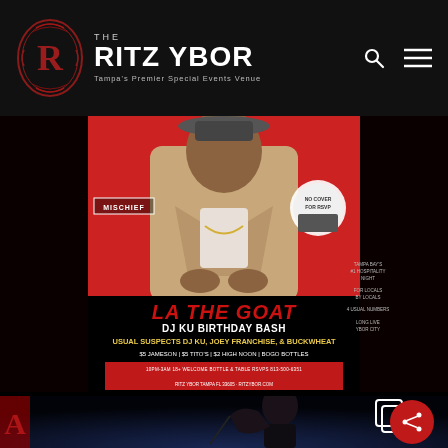THE RITZ YBOR — Tampa's Premier Special Events Venue
[Figure (photo): Event flyer for LA THE GOAT DJ KU BIRTHDAY BASH featuring Usual Suspects DJ KU, Joey Franchise, & Buckwheat. Specials: $5 Jameson | $5 Tito's | $2 High Noon | BOGO Bottles. 10PM-3AM 18+ welcome. Bottle & table RSVPs. Ritz Ybor Tampa FL. MISCHIEF branding. Red background with seated performer in tan jacket.]
[Figure (photo): Concert photo of a guitarist performing on a dark stage with blue lighting, partially visible, taken from a low angle at The Ritz Ybor.]